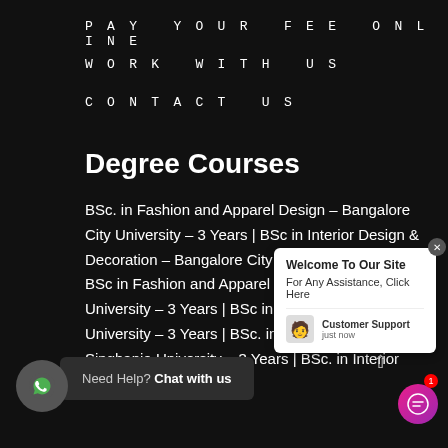PAY YOUR FEE ONLINE
WORK WITH US
CONTACT US
Degree Courses
BSc. in Fashion and Apparel Design – Bangalore City University – 3 Years | BSc in Interior Design & Decoration – Bangalore City University – 3 Years | BSc in Fashion and Apparel Design – Goa University – 3 Years | BSc in Interior Design – University – 3 Years | BSc. in Fashion Design – Singhania University – 3 Years | BSc. in Interior Design – Singhania